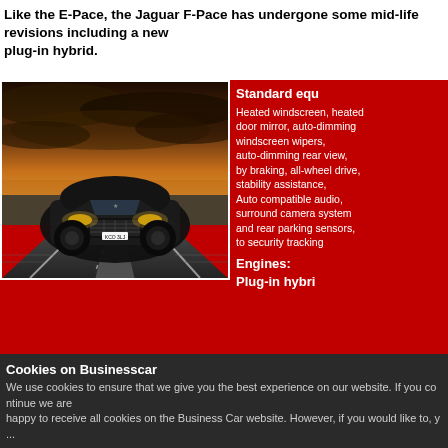Like the E-Pace, the Jaguar F-Pace has undergone some mid-life revisions including a new plug-in hybrid.
[Figure (photo): Jaguar F-Pace SUV driving on a road with dramatic cloudy sky background, front three-quarter view]
Standard equ...
Heated windscreen, heated door mirror, auto-dimming windscreen wi... auto-dimming by braking, all... stability assist... Auto compatible, surround cam... and rear parki... to security tra...
Engines:
Plug-in hybri...
Equipment g...
S, SE, HSE, F...
Cookies on Businesscar
We use cookies to ensure that we give you the best experience on our website. If you continue we are happy to receive all cookies on the Business Car website. However, if you would like to, y...